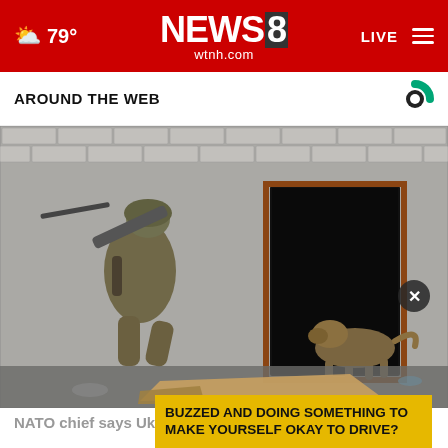NEWS8 wtnh.com — 79° — LIVE
AROUND THE WEB
[Figure (photo): A soldier in combat gear carrying a rifle near a brick wall with an open doorway; a German Shepherd dog is entering the doorway; debris on the ground including a flattened cardboard box.]
NATO chief says Ukraine is using most of Rus...
BUZZED AND DOING SOMETHING TO MAKE YOURSELF OKAY TO DRIVE?